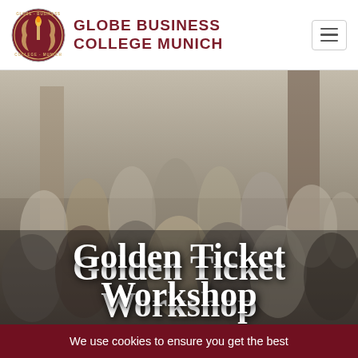GLOBE BUSINESS COLLEGE MUNICH
[Figure (photo): Group photo of approximately 20 young students and staff dressed in formal/business attire, posed together in what appears to be an indoor venue with ornate architectural details. Text overlay reads 'Golden Ticket Workshop'.]
Golden Ticket Workshop
We use cookies to ensure you get the best